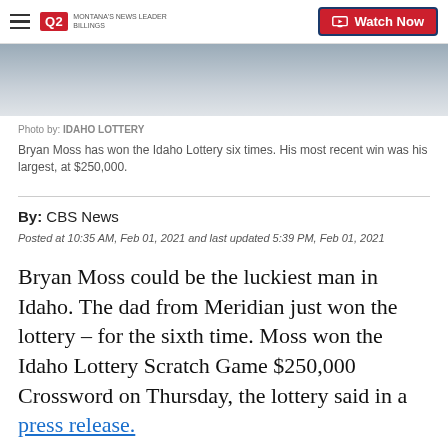Q2 Montana News Leader | Watch Now
[Figure (photo): Partial photo of a person, cropped at top of page]
Photo by: IDAHO LOTTERY
Bryan Moss has won the Idaho Lottery six times. His most recent win was his largest, at $250,000.
By: CBS News
Posted at 10:35 AM, Feb 01, 2021 and last updated 5:39 PM, Feb 01, 2021
Bryan Moss could be the luckiest man in Idaho. The dad from Meridian just won the lottery – for the sixth time. Moss won the Idaho Lottery Scratch Game $250,000 Crossword on Thursday, the lottery said in a press release.